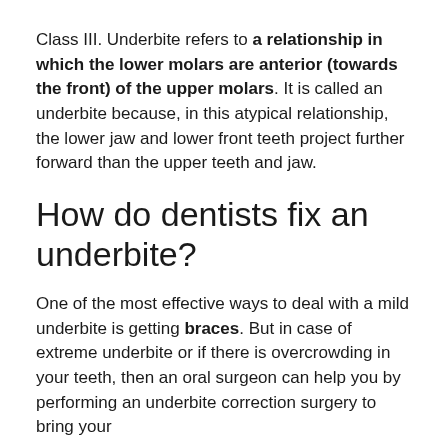Class III. Underbite refers to a relationship in which the lower molars are anterior (towards the front) of the upper molars. It is called an underbite because, in this atypical relationship, the lower jaw and lower front teeth project further forward than the upper teeth and jaw.
How do dentists fix an underbite?
One of the most effective ways to deal with a mild underbite is getting braces. But in case of extreme underbite or if there is overcrowding in your teeth, then an oral surgeon can help you by performing an underbite correction surgery to bring your